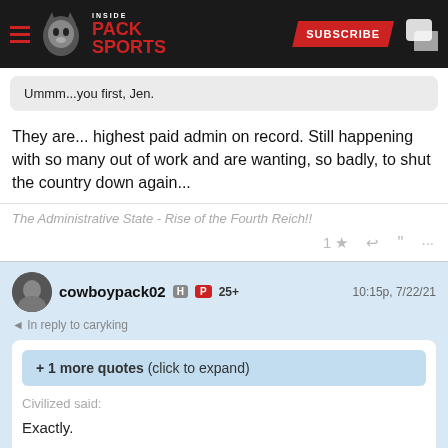Inside Pack Sports
Ummm...you first, Jen.
They are... highest paid admin on record. Still happening with so many out of work and are wanting, so badly, to shut the country down again...
The Administrative State - Rise of the Fourth Reich!!
1 ★ ↩ ❝ ...
cowboypack02 H P 25+  10:15p, 7/22/21
In reply to caryking
+ 1 more quotes (click to expand)
Civilized said:
Exactly.
Ummm...you first, Jen.